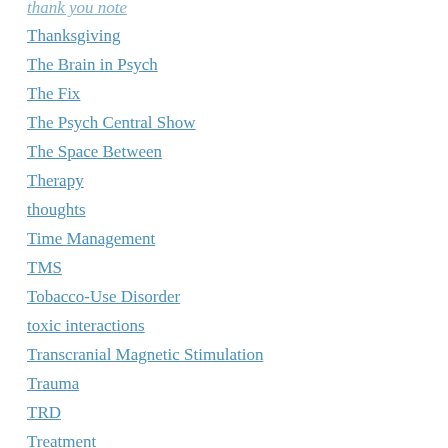thank you note
Thanksgiving
The Brain in Psych
The Fix
The Psych Central Show
The Space Between
Therapy
thoughts
Time Management
TMS
Tobacco-Use Disorder
toxic interactions
Transcranial Magnetic Stimulation
Trauma
TRD
Treatment